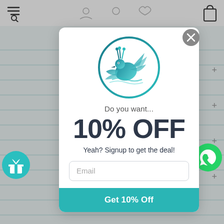[Figure (screenshot): Website background with lined pattern and navigation bar showing hamburger/search icon on left and shopping bag icon on right. Plus signs visible on right sidebar.]
[Figure (logo): Circular logo with teal/blue peacock bird illustration inside a circle with gradient border]
Do you want...
10% OFF
Yeah? Signup to get the deal!
Email
Get 10% Off
[Figure (illustration): Green circular WhatsApp icon button on right side]
[Figure (illustration): Teal circular gift box icon button on left side]